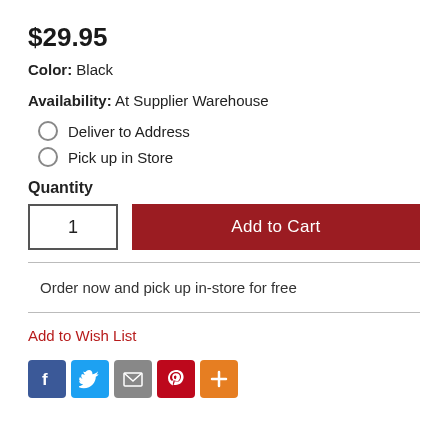$29.95
Color:  Black
Availability:  At Supplier Warehouse
Deliver to Address
Pick up in Store
Quantity
1
Add to Cart
Order now and pick up in-store for free
Add to Wish List
[Figure (other): Social sharing icons: Facebook, Twitter, Email, Pinterest, More]